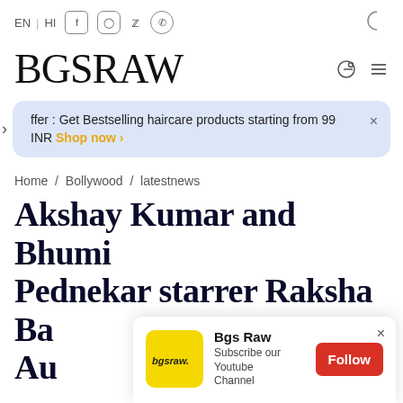EN | HI [social icons] [dark mode]
BGSRAW
Offer : Get Bestselling haircare products starting from 99 INR Shop now ›
Home / Bollywood / latestnews
Akshay Kumar and Bhumi Pednekar starrer Raksha Ba Au
[Figure (screenshot): Bgs Raw YouTube subscribe popup with yellow logo, Follow button, and close button]